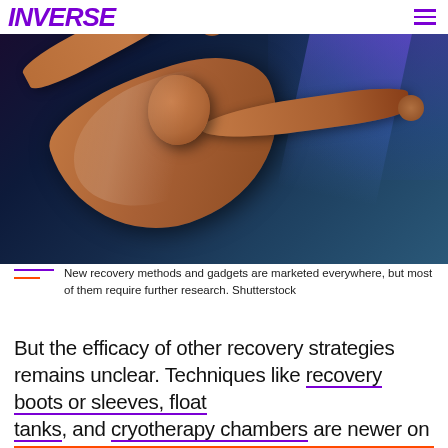INVERSE
[Figure (photo): A shirtless muscular man photographed from above, arms outstretched, illuminated by purple and blue lighting against a dark background. Athletic/recovery themed photo.]
New recovery methods and gadgets are marketed everywhere, but most of them require further research. Shutterstock
But the efficacy of other recovery strategies remains unclear. Techniques like recovery boots or sleeves, float tanks, and cryotherapy chambers are newer on the